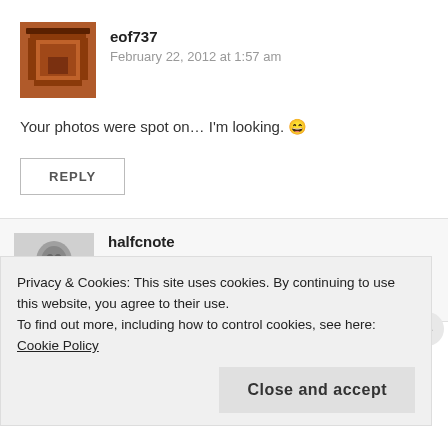[Figure (photo): Avatar of user eof737 showing a red Japanese shrine gate]
eof737
February 22, 2012 at 1:57 am
Your photos were spot on… I'm looking. 😄
REPLY
[Figure (photo): Black and white avatar photo of halfcnote showing a child]
halfcnote
February 22, 2012 at 9:49 am
I thought about throwing up another set of photos
Privacy & Cookies: This site uses cookies. By continuing to use this website, you agree to their use.
To find out more, including how to control cookies, see here: Cookie Policy
Close and accept